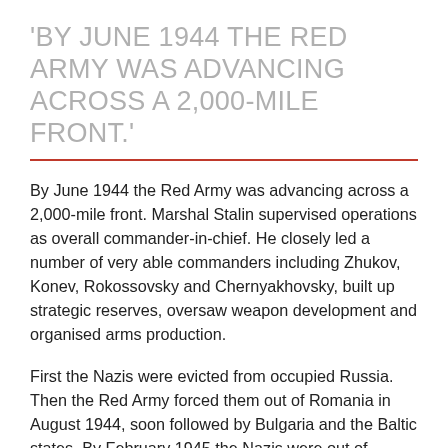'BY JUNE 1944 THE RED ARMY WAS ADVANCING ACROSS A 2,000-MILE FRONT.'
By June 1944 the Red Army was advancing across a 2,000-mile front. Marshal Stalin supervised operations as overall commander-in-chief. He closely led a number of very able commanders including Zhukov, Konev, Rokossovsky and Chernyakhovsky, built up strategic reserves, oversaw weapon development and organised arms production.
First the Nazis were evicted from occupied Russia. Then the Red Army forced them out of Romania in August 1944, soon followed by Bulgaria and the Baltic states. By February 1945 the Nazis were out of Poland and Hungary; Vienna fell on 14 April. Immense Soviet forces